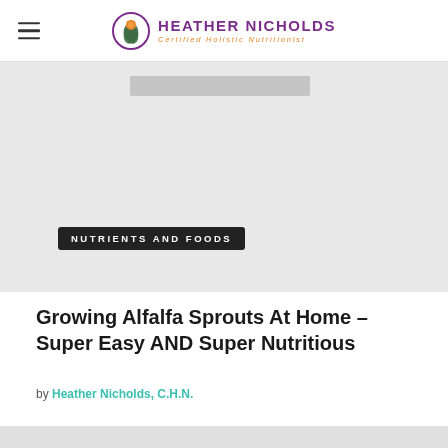HEATHER NICHOLDS Certified Holistic Nutritionist
[Figure (photo): Hero image placeholder in light gray with a category badge overlay reading NUTRIENTS AND FOODS]
NUTRIENTS AND FOODS
Growing Alfalfa Sprouts At Home – Super Easy AND Super Nutritious
by Heather Nicholds, C.H.N.